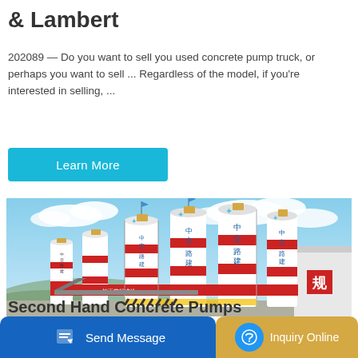& Lambert
202089 — Do you want to sell you used concrete pump truck, or perhaps you want to sell ... Regardless of the model, if you're interested in selling, ...
Learn More
[Figure (photo): Industrial concrete batching plant with multiple large white cylindrical silos marked with Chinese characters (中交路建), red horizontal stripes, against a blue sky with clouds.]
Second Hand Concrete Pumps
Send Message
Inquiry Online